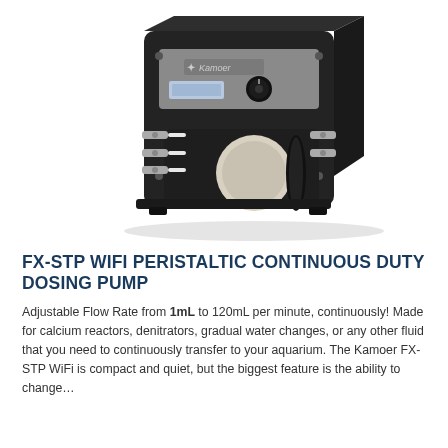[Figure (photo): Photo of Kamoer FX-STP WiFi Peristaltic Continuous Duty Dosing Pump — a black and grey box-shaped pump with a small LCD display, a rotary knob, silver tubing connectors, and a visible peristaltic roller mechanism on the front face.]
FX-STP WIFI PERISTALTIC CONTINUOUS DUTY DOSING PUMP
Adjustable Flow Rate from 1mL to 120mL per minute, continuously! Made for calcium reactors, denitrators, gradual water changes, or any other fluid that you need to continuously transfer to your aquarium. The Kamoer FX-STP WiFi is compact and quiet, but the biggest feature is the ability to change...